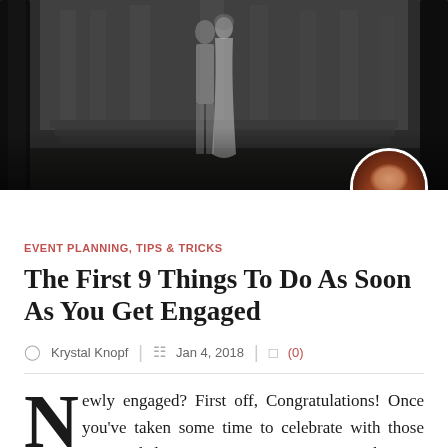[Figure (photo): Hero image of an engaged couple standing between trees in front of a stone architectural backdrop, with a circular avatar photo of a woman (Krystal Knopf) overlaid in the bottom-right corner]
EVENT PLANNING, TIPS & TRICKS
The First 9 Things To Do As Soon As You Get Engaged
Krystal Knopf  |  Jan 4, 2018  |  (0)
Newly engaged? First off, Congratulations! Once you've taken some time to celebrate with those near and dear to you, it's time to start planning your big day.